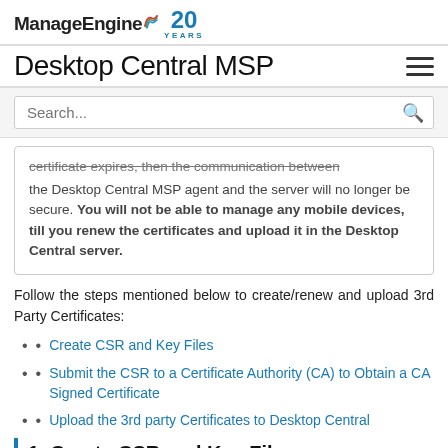ManageEngine 20 YEARS
Desktop Central MSP
certificate expires, then the communication between the Desktop Central MSP agent and the server will no longer be secure. You will not be able to manage any mobile devices, till you renew the certificates and upload it in the Desktop Central server.
Follow the steps mentioned below to create/renew and upload 3rd Party Certificates:
Create CSR and Key Files
Submit the CSR to a Certificate Authority (CA) to Obtain a CA Signed Certificate
Upload the 3rd party Certificates to Desktop Central
1. Create CSR and Key Files